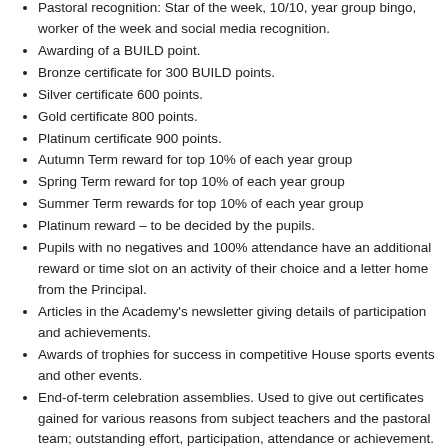Pastoral recognition: Star of the week, 10/10, year group bingo, worker of the week and social media recognition.
Awarding of a BUILD point.
Bronze certificate for 300 BUILD points.
Silver certificate 600 points.
Gold certificate 800 points.
Platinum certificate 900 points.
Autumn Term reward for top 10% of each year group
Spring Term reward for top 10% of each year group
Summer Term rewards for top 10% of each year group
Platinum reward – to be decided by the pupils.
Pupils with no negatives and 100% attendance have an additional reward or time slot on an activity of their choice and a letter home from the Principal.
Articles in the Academy's newsletter giving details of participation and achievements.
Awards of trophies for success in competitive House sports events and other events.
End-of-term celebration assemblies. Used to give out certificates gained for various reasons from subject teachers and the pastoral team; outstanding effort, participation, attendance or achievement.